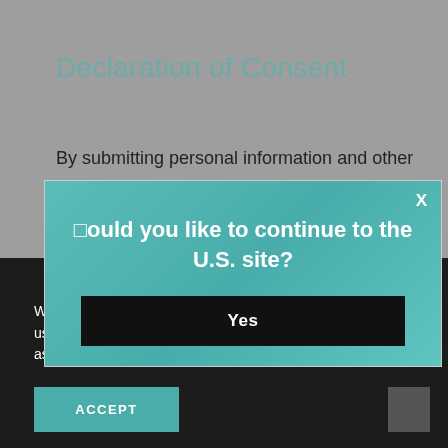Declaration of Consent
By submitting personal information and other
[Figure (screenshot): Modal dialog box with teal/green gradient background asking 'Would you like to continue to the U.S. site?' with a black 'Yes' button and an X close button]
No, I would like to stay on the current site.
We use cookies to improve your experience on our site. By using our website, you are agreeing to the collection of data as described in our Cookie Policy.
ACCEPT